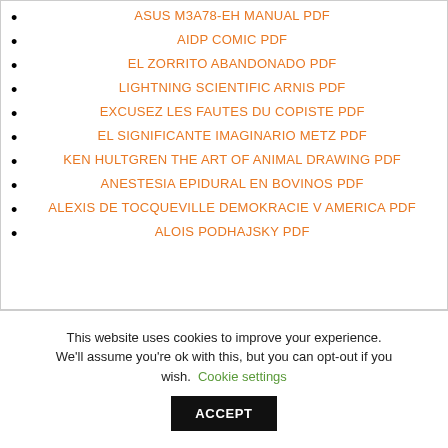ASUS M3A78-EH MANUAL PDF
AIDP COMIC PDF
EL ZORRITO ABANDONADO PDF
LIGHTNING SCIENTIFIC ARNIS PDF
EXCUSEZ LES FAUTES DU COPISTE PDF
EL SIGNIFICANTE IMAGINARIO METZ PDF
KEN HULTGREN THE ART OF ANIMAL DRAWING PDF
ANESTESIA EPIDURAL EN BOVINOS PDF
ALEXIS DE TOCQUEVILLE DEMOKRACIE V AMERICA PDF
ALOIS PODHAJSKY PDF
This website uses cookies to improve your experience. We'll assume you're ok with this, but you can opt-out if you wish. Cookie settings ACCEPT